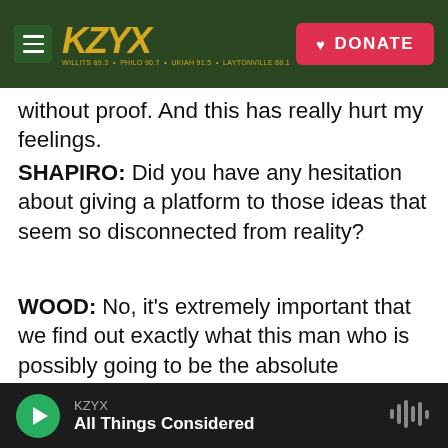KZYX — DONATE
without proof. And this has really hurt my feelings.
SHAPIRO: Did you have any hesitation about giving a platform to those ideas that seem so disconnected from reality?
WOOD: No, it's extremely important that we find out exactly what this man who is possibly going to be the absolute monarch of Saudi Arabia for 50 years thinks about this. You know, giving him a platform, just like talking to any important person, means finding out what is going on in that person's head. And we now know, when he thinks about Khashoggi, he thinks this is a terrible thing that
KZYX — All Things Considered